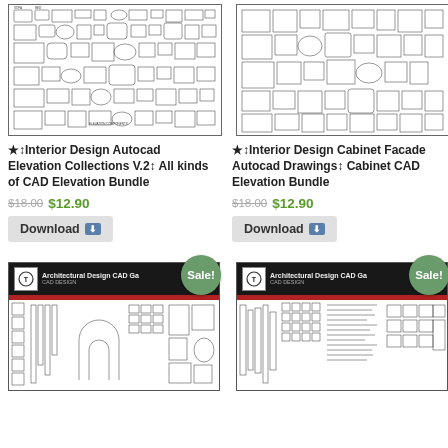[Figure (engineering-diagram): CAD elevation drawing thumbnail - interior design autocad elevation collections]
[Figure (engineering-diagram): CAD elevation drawing thumbnail - interior design cabinet facade autocad drawings]
★↕Interior Design Autocad Elevation Collections V.2↕ All kinds of CAD Elevation Bundle
★↕Interior Design Cabinet Facade Autocad Drawings↕ Cabinet CAD Elevation Bundle
$18.00 $12.90
$18.00 $12.90
Download ⬇
Download ⬇
[Figure (screenshot): Architectural Design CAD Gallery product thumbnail with Sale! badge]
[Figure (screenshot): Architectural Design CAD Gallery product thumbnail with Sale! badge]